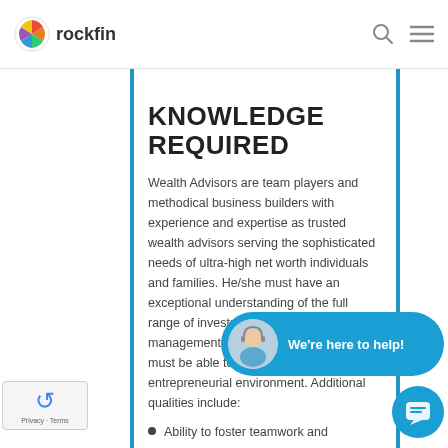rockfin
KNOWLEDGE REQUIRED
Wealth Advisors are team players and methodical business builders with experience and expertise as trusted wealth advisors serving the sophisticated needs of ultra-high net worth individuals and families. He/she must have an exceptional understanding of the full range of investment expertise in wealth management and ... services and p... must be able to... autonomous and entrepreneurial environment. Additional qualities include:
Ability to foster teamwork and